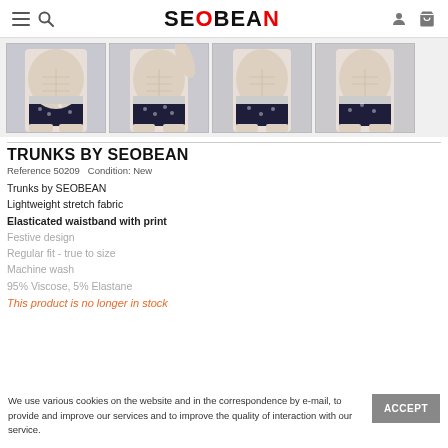SEOBEAN
[Figure (photo): Four product thumbnail images of male model wearing dark patterned trunks/underwear by SEOBEAN, shown from front and side angles.]
TRUNKS BY SEOBEAN
Reference 50209    Condition: New
Trunks by SEOBEAN
Lightweight stretch fabric
Elasticated waistband with print
Festive design
Regular fit - true to size
Machine wash
95% Viscose, 5% Elastane
This product is no longer in stock
We use various cookies on the website and in the correspondence by e-mail, to provide and improve our services and to improve the quality of interaction with our service.